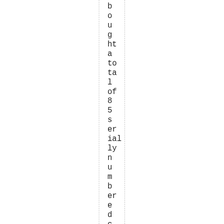bought a total of 85 serially numbered cards as a